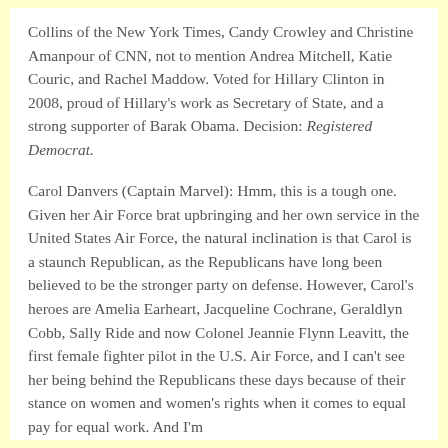Collins of the New York Times, Candy Crowley and Christine Amanpour of CNN, not to mention Andrea Mitchell, Katie Couric, and Rachel Maddow. Voted for Hillary Clinton in 2008, proud of Hillary's work as Secretary of State, and a strong supporter of Barak Obama. Decision: Registered Democrat.
Carol Danvers (Captain Marvel): Hmm, this is a tough one. Given her Air Force brat upbringing and her own service in the United States Air Force, the natural inclination is that Carol is a staunch Republican, as the Republicans have long been believed to be the stronger party on defense. However, Carol's heroes are Amelia Earheart, Jacqueline Cochrane, Geraldlyn Cobb, Sally Ride and now Colonel Jeannie Flynn Leavitt, the first female fighter pilot in the U.S. Air Force, and I can't see her being behind the Republicans these days because of their stance on women and women's rights when it comes to equal pay for equal work. And I'm